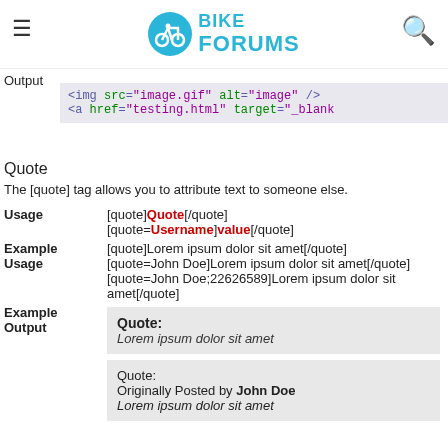Bike Forums
Output
<img src="image.gif" alt="image" />
<a href="testing.html" target="_blank
Quote
The [quote] tag allows you to attribute text to someone else.
|  |  |
| --- | --- |
| Usage | [quote]Quote[/quote]
[quote=Username]value[/quote] |
| Example Usage | [quote]Lorem ipsum dolor sit amet[/quote]
[quote=John Doe]Lorem ipsum dolor sit amet[/quote]
[quote=John Doe;22626589]Lorem ipsum dolor sit amet[/quote] |
| Example Output | Quote:
Lorem ipsum dolor sit amet

Quote:
Originally Posted by John Doe
Lorem ipsum dolor sit amet |